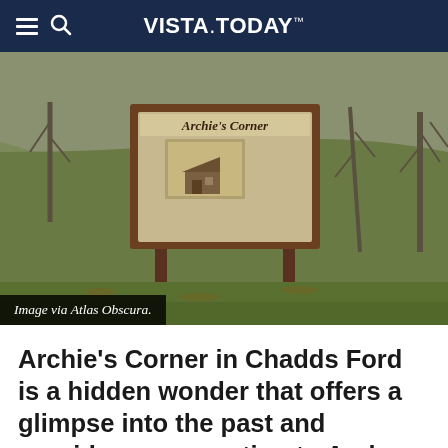VISTA.TODAY
[Figure (photo): Outdoor photograph of a wooden sign reading 'Archie's Corner' with a historical information board, set against a grassy hillside with a stone wall and bare trees in winter.]
Image via Atlas Obscura.
Archie's Corner in Chadds Ford is a hidden wonder that offers a glimpse into the past and provides a connection to Andrew Wyeth, one of America's greatest artists of the 20th century, writes Atlas Obscura.